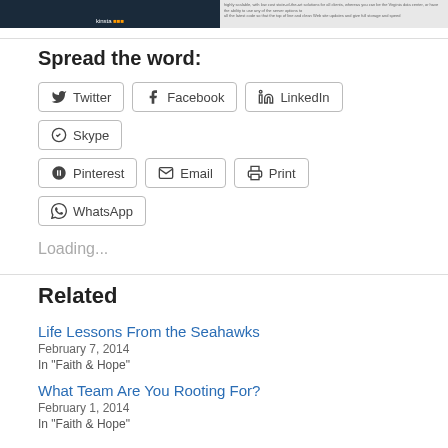[Figure (screenshot): Two images side by side at top: left is dark blue (Kinsta branded), right is a light grey text image]
Spread the word:
Twitter Facebook LinkedIn Skype Pinterest Email Print WhatsApp (share buttons)
Loading...
Related
Life Lessons From the Seahawks
February 7, 2014
In "Faith & Hope"
What Team Are You Rooting For?
February 1, 2014
In "Faith & Hope"